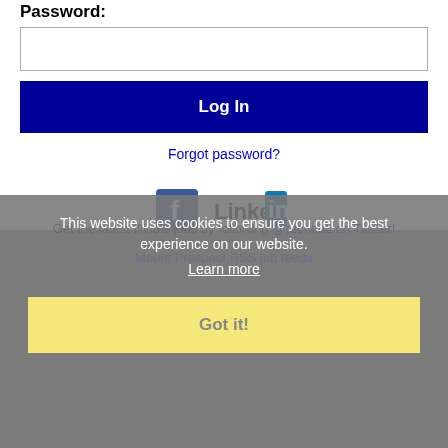Password:
[Figure (screenshot): Empty password input field with border]
[Figure (screenshot): Log In button, dark navy blue background with white bold text]
Forgot password?
[Figure (logo): Facebook and LinkedIn social media icons side by side]
Get the latest Illinois jobs by following @recnetIL on Twitter!
Mount Prospect RSS job feeds
This website uses cookies to ensure you get the best experience on our website.
Learn more
Got it!